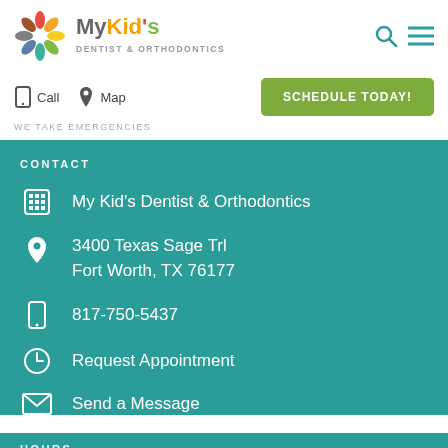[Figure (logo): MyKid's Dentist & Orthodontics colorful sunburst logo with text]
Call  Map  SCHEDULE TODAY!
WE TAKE EMERGENCIES
CONTACT
My Kid's Dentist & Orthodontics
3400 Texas Sage Trl Fort Worth, TX 76177
817-750-5437
Request Appointment
Send a Message
HOURS